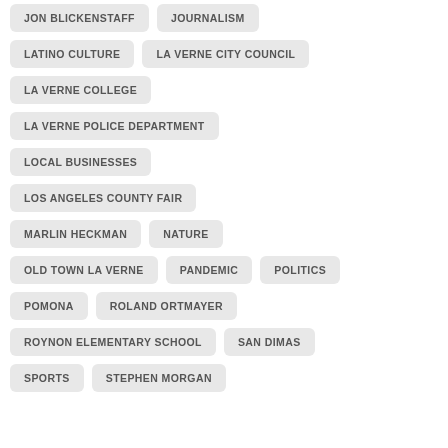JON BLICKENSTAFF
JOURNALISM
LATINO CULTURE
LA VERNE CITY COUNCIL
LA VERNE COLLEGE
LA VERNE POLICE DEPARTMENT
LOCAL BUSINESSES
LOS ANGELES COUNTY FAIR
MARLIN HECKMAN
NATURE
OLD TOWN LA VERNE
PANDEMIC
POLITICS
POMONA
ROLAND ORTMAYER
ROYNON ELEMENTARY SCHOOL
SAN DIMAS
SPORTS
STEPHEN MORGAN